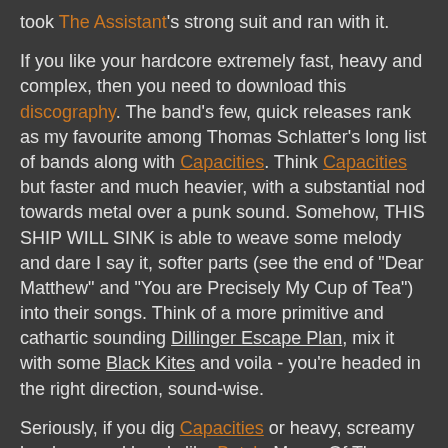took The Assistant's strong suit and ran with it.
If you like your hardcore extremely fast, heavy and complex, then you need to download this discography. The band's few, quick releases rank as my favourite among Thomas Schlatter's long list of bands along with Capacities. Think Capacities but faster and much heavier, with a substantial nod towards metal over a punk sound. Somehow, THIS SHIP WILL SINK is able to weave some melody and dare I say it, softer parts (see the end of "Dear Matthew" and "You are Precisely My Cup of Tea") into their songs. Think of a more primitive and cathartic sounding Dillinger Escape Plan, mix it with some Black Kites and voila - you're headed in the right direction, sound-wise.
Seriously, if you dig Capacities or heavy, screamy hardcore and bands like Botch, Mares Of Thrace and Back When - giddy up.
Remember, OPENmind/SATURATEDbrain's entire Thomas Schlatter interview will be posted in January of 2014. Until then, here is an excerpt from it regarding his time with THIS